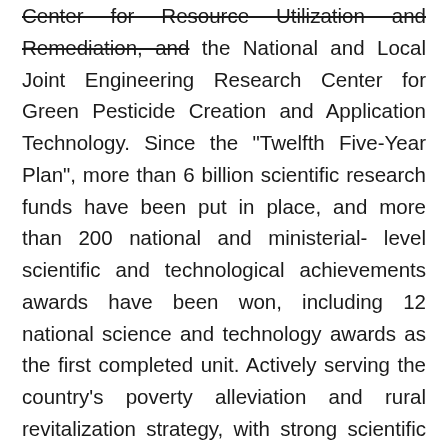Center for Resource Utilization and Remediation, and the National and Local Joint Engineering Research Center for Green Pesticide Creation and Application Technology. Since the "Twelfth Five-Year Plan", more than 6 billion scientific research funds have been put in place, and more than 200 national and ministerial-level scientific and technological achievements awards have been won, including 12 national science and technology awards as the first completed unit. Actively serving the country's poverty alleviation and rural revitalization strategy, with strong scientific research capabilities, it has created huge economic and social benefits and has been rated as "National Advanced Unit for Agriculture through Science and Education" many times. From 2017 to 2019, it was selected as one of the top ten typical projects of targeted poverty alleviation and targeted poverty